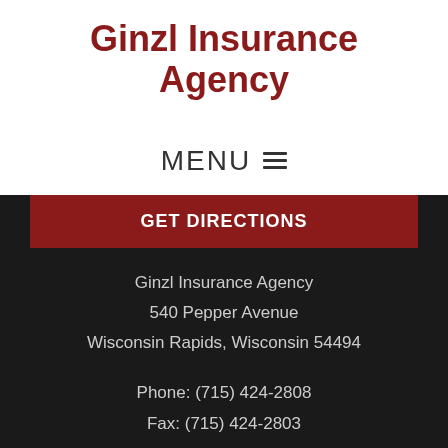Ginzl Insurance Agency
MENU ☰
GET DIRECTIONS
Ginzl Insurance Agency
540 Pepper Avenue
Wisconsin Rapids, Wisconsin 54494
Phone: (715) 424-2808
Fax: (715) 424-2803
Office Hours
Mon-Fri: 9:00am-4:30pm